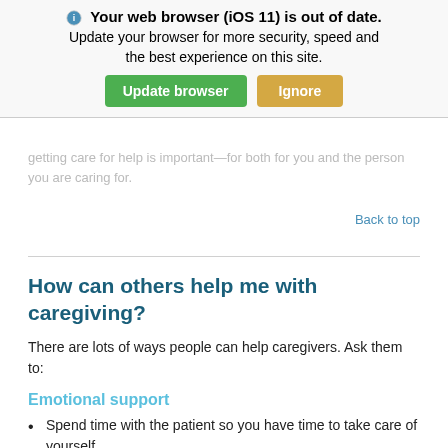[Figure (screenshot): Browser update notification banner with title 'Your web browser (iOS 11) is out of date.' and subtitle 'Update your browser for more security, speed and the best experience on this site.' with green 'Update browser' button and tan 'Ignore' button.]
getting care for help is important—for both for you and the person you are caring for.
Back to top
How can others help me with caregiving?
There are lots of ways people can help caregivers. Ask them to:
Emotional support
Spend time with the patient so you have time to take care of yourself.
Give you a chance to talk through any feelings you have of anger, anxiety, sadness, fatigue, fear, and loneliness.